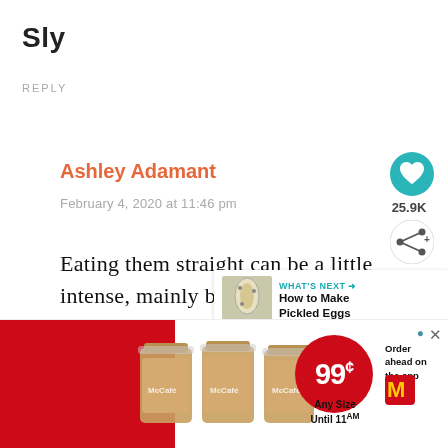Sly
REPLY
Ashley Adamant
February 4, 2020 at 11:46 pm
25.9K
Eating them straight can be a little intense, mainly because of the salt content. Grating works wonderfully, a... u
[Figure (screenshot): What's Next overlay showing How to Make Pickled Eggs with a jar image]
[Figure (photo): McDonald's McCafe advertisement with three iced drinks, 99¢ any size until 11AM, order ahead on the app]